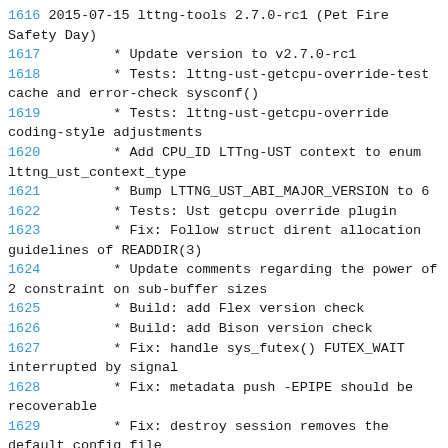1616 2015-07-15 lttng-tools 2.7.0-rc1 (Pet Fire Safety Day)
1617     * Update version to v2.7.0-rc1
1618     * Tests: lttng-ust-getcpu-override-test cache and error-check sysconf()
1619     * Tests: lttng-ust-getcpu-override coding-style adjustments
1620     * Add CPU_ID LTTng-UST context to enum lttng_ust_context_type
1621     * Bump LTTNG_UST_ABI_MAJOR_VERSION to 6
1622     * Tests: Ust getcpu override plugin
1623     * Fix: Follow struct dirent allocation guidelines of READDIR(3)
1624     * Update comments regarding the power of 2 constraint on sub-buffer sizes
1625     * Build: add Flex version check
1626     * Build: add Bison version check
1627     * Fix: handle sys_futex() FUTEX_WAIT interrupted by signal
1628     * Fix: metadata push -EPIPE should be recoverable
1629     * Fix: destroy session removes the default config file
1630     * Build: bump autoconf version requirement to 2.64